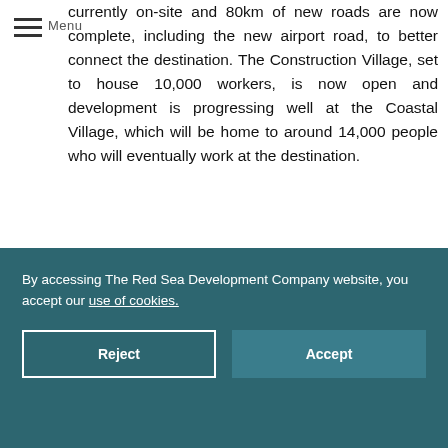currently on-site and 80km of new roads are now complete, including the new airport road, to better connect the destination. The Construction Village, set to house 10,000 workers, is now open and development is progressing well at the Coastal Village, which will be home to around 14,000 people who will eventually work at the destination.
By accessing The Red Sea Development Company website, you accept our use of cookies.